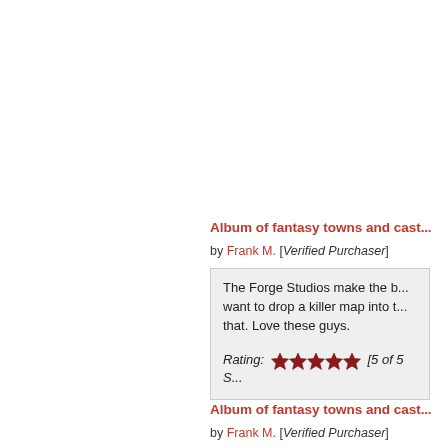Album of fantasy towns and cast...
by Frank M. [Verified Purchaser]
The Forge Studios make the b... want to drop a killer map into t... that. Love these guys.
Rating: ★★★★★ [5 of 5 S...
Album of fantasy towns and cast...
by Frank M. [Verified Purchaser]
The Forge Studios and th...